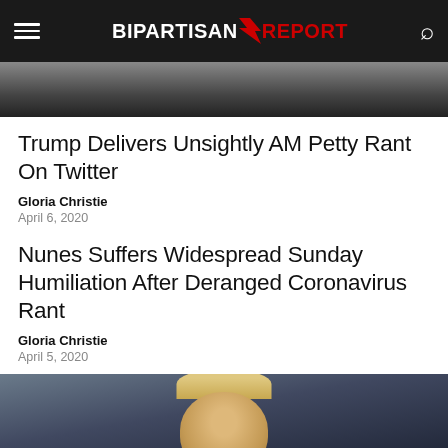BIPARTISAN REPORT
[Figure (photo): Top portion of article image showing two men in suits, partially cropped]
Trump Delivers Unsightly AM Petty Rant On Twitter
Gloria Christie
April 6, 2020
Nunes Suffers Widespread Sunday Humiliation After Deranged Coronavirus Rant
Gloria Christie
April 5, 2020
[Figure (photo): Photo of a man smiling, partially cropped at bottom of page]